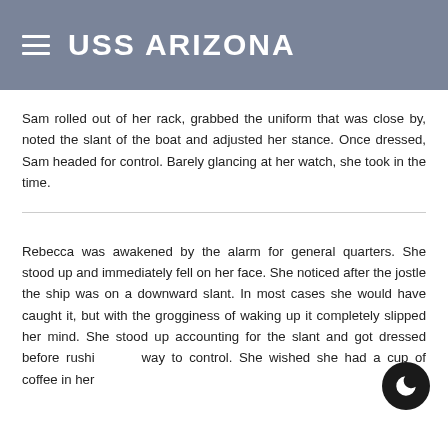USS ARIZONA
Sam rolled out of her rack, grabbed the uniform that was close by, noted the slant of the boat and adjusted her stance. Once dressed, Sam headed for control. Barely glancing at her watch, she took in the time.
Rebecca was awakened by the alarm for general quarters. She stood up and immediately fell on her face. She noticed after the jostle the ship was on a downward slant. In most cases she would have caught it, but with the grogginess of waking up it completely slipped her mind. She stood up accounting for the slant and got dressed before rushing her way to control. She wished she had a cup of coffee in her system, but she was trained for this.